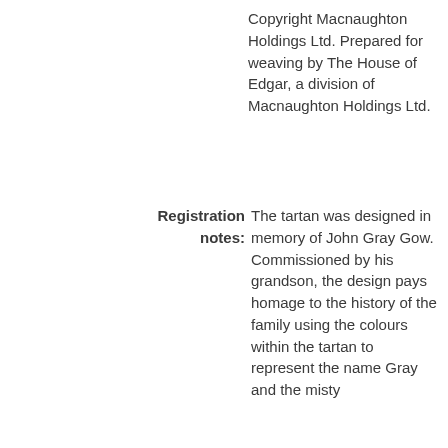Copyright Macnaughton Holdings Ltd. Prepared for weaving by The House of Edgar, a division of Macnaughton Holdings Ltd.
Registration notes: The tartan was designed in memory of John Gray Gow. Commissioned by his grandson, the design pays homage to the history of the family using the colours within the tartan to represent the name Gray and the misty